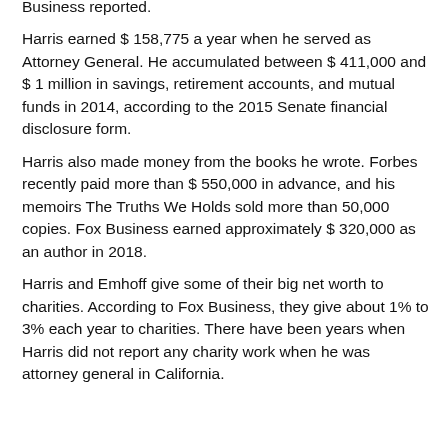Business reported.
Harris earned $ 158,775 a year when he served as Attorney General. He accumulated between $ 411,000 and $ 1 million in savings, retirement accounts, and mutual funds in 2014, according to the 2015 Senate financial disclosure form.
Harris also made money from the books he wrote. Forbes recently paid more than $ 550,000 in advance, and his memoirs The Truths We Holds sold more than 50,000 copies. Fox Business earned approximately $ 320,000 as an author in 2018.
Harris and Emhoff give some of their big net worth to charities. According to Fox Business, they give about 1% to 3% each year to charities. There have been years when Harris did not report any charity work when he was attorney general in California.